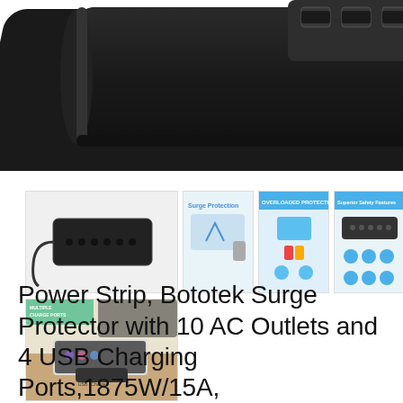[Figure (photo): Close-up top view of a black power strip/surge protector showing USB ports on top edge]
[Figure (photo): Thumbnail 1: Full view of black power strip with multiple AC outlets and cable]
[Figure (photo): Thumbnail 2: Surge Protection feature graphic with blue accent]
[Figure (photo): Thumbnail 3: Overloaded Protection feature diagram on blue background]
[Figure (photo): Thumbnail 4: Superior Safety Features graphic showing power strip]
[Figure (photo): Thumbnail 5: Lightning protection graphic on blue background]
[Figure (photo): Thumbnail 6: Power strip in lifestyle/desk setting with colorful lighting]
Power Strip, Bototek Surge Protector with 10 AC Outlets and 4 USB Charging Ports,1875W/15A,